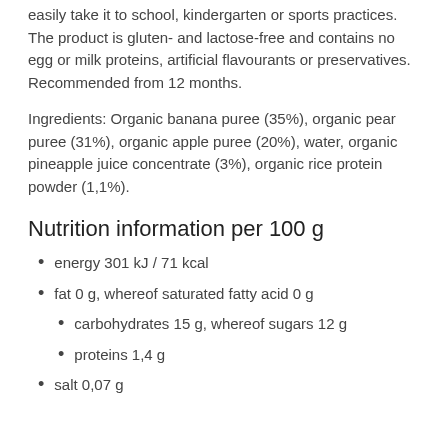easily take it to school, kindergarten or sports practices. The product is gluten- and lactose-free and contains no egg or milk proteins, artificial flavourants or preservatives. Recommended from 12 months.
Ingredients: Organic banana puree (35%), organic pear puree (31%), organic apple puree (20%), water, organic pineapple juice concentrate (3%), organic rice protein powder (1,1%).
Nutrition information per 100 g
energy 301 kJ / 71 kcal
fat 0 g, whereof saturated fatty acid 0 g
carbohydrates 15 g, whereof sugars 12 g
proteins 1,4 g
salt 0,07 g